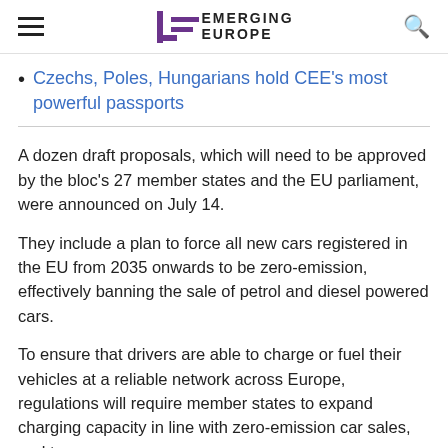EMERGING EUROPE
Czechs, Poles, Hungarians hold CEE's most powerful passports
A dozen draft proposals, which will need to be approved by the bloc's 27 member states and the EU parliament, were announced on July 14.
They include a plan to force all new cars registered in the EU from 2035 onwards to be zero-emission, effectively banning the sale of petrol and diesel powered cars.
To ensure that drivers are able to charge or fuel their vehicles at a reliable network across Europe, regulations will require member states to expand charging capacity in line with zero-emission car sales, and to